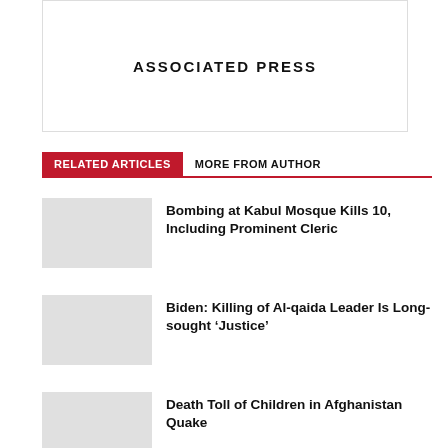[Figure (logo): Associated Press logo placeholder box with text 'ASSOCIATED PRESS']
RELATED ARTICLES   MORE FROM AUTHOR
Bombing at Kabul Mosque Kills 10, Including Prominent Cleric
Biden: Killing of Al-qaida Leader Is Long-sought ‘Justice’
Death Toll of Children in Afghanistan Quake